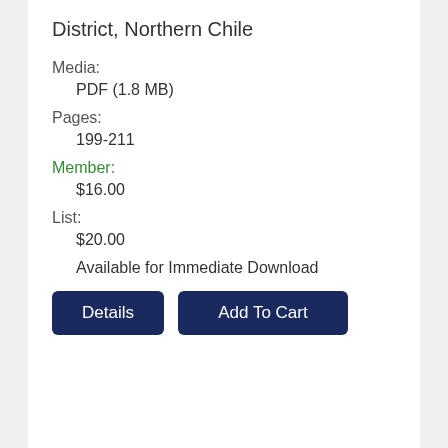District, Northern Chile
Media:
PDF (1.8 MB)
Pages:
199-211
Member:
$16.00
List:
$20.00
Available for Immediate Download